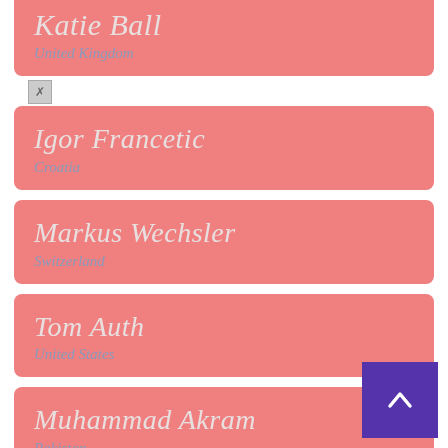Katie Ball
United Kingdom
Igor Francetic
Croatia
Markus Wechsler
Switzerland
Tom Auth
United States
Muhammad Akram
Pakistan